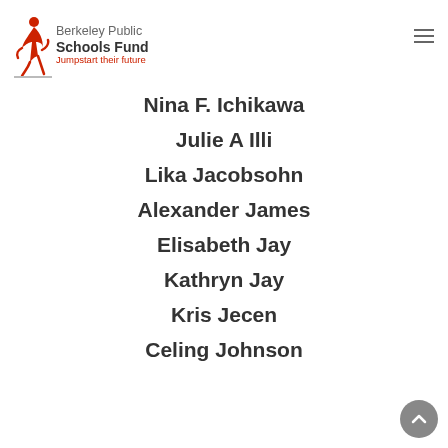[Figure (logo): Berkeley Public Schools Fund logo — red jumping figure with text 'Berkeley Public Schools Fund' and tagline 'Jumpstart their future']
Nina F. Ichikawa
Julie A Illi
Lika Jacobsohn
Alexander James
Elisabeth Jay
Kathryn Jay
Kris Jecen
Celing Johnson